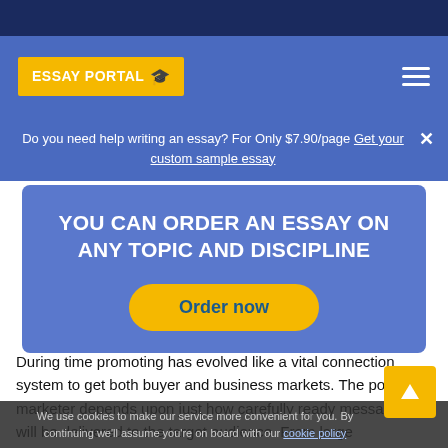[Figure (screenshot): Dark navy top bar]
ESSAY PORTAL 🎓
Do you need help writing an essay? For Only $7.90/page Get your custom sample essay
YOU CAN ORDER AN ESSAY ON ANY TOPIC AND DISCIPLINE
Order now
During time promoting has evolved like a vital connection system to get both buyer and business markets. The power of marketer depends upon just how carefully ready messages will be delivered to the target audience. From large multinationals to small merchants, all increasingly rely on advertising and
We use cookies to make our service more convenient for you. By continuing we'll assume you're on board with our cookie policy